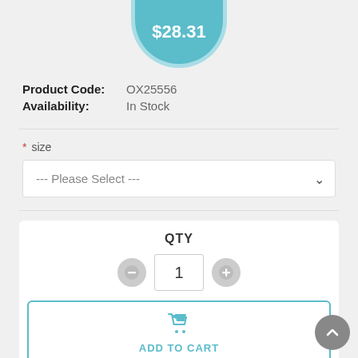[Figure (other): Teal circular price badge showing $28.31]
Product Code: OX25556
Availability: In Stock
* size
--- Please Select ---
QTY
1
ADD TO CART